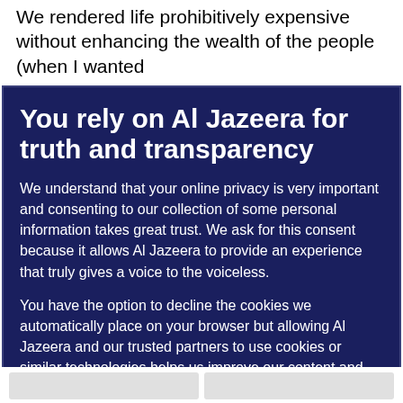We rendered life prohibitively expensive without enhancing the wealth of the people (when I wanted
You rely on Al Jazeera for truth and transparency
We understand that your online privacy is very important and consenting to our collection of some personal information takes great trust. We ask for this consent because it allows Al Jazeera to provide an experience that truly gives a voice to the voiceless.
You have the option to decline the cookies we automatically place on your browser but allowing Al Jazeera and our trusted partners to use cookies or similar technologies helps us improve our content and offerings to you. You can change your privacy preferences at any time by selecting 'Cookie preferences' at the bottom of your screen. To learn more, please view our Cookie Policy.